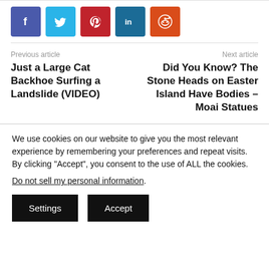[Figure (infographic): Social media share buttons: Facebook (purple-blue), Twitter (light blue), Pinterest (red), LinkedIn (dark blue), Reddit (orange)]
Previous article
Just a Large Cat Backhoe Surfing a Landslide (VIDEO)
Next article
Did You Know? The Stone Heads on Easter Island Have Bodies – Moai Statues
We use cookies on our website to give you the most relevant experience by remembering your preferences and repeat visits. By clicking "Accept", you consent to the use of ALL the cookies.
Do not sell my personal information.
Settings
Accept